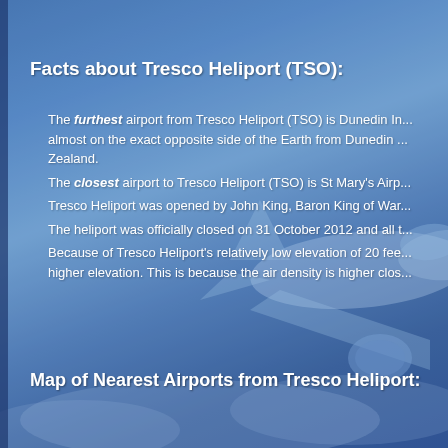[Figure (photo): Background photo of a commercial airplane viewed from below/side against a blue sky with clouds, with a blue overlay tint covering the entire page]
Facts about Tresco Heliport (TSO):
The furthest airport from Tresco Heliport (TSO) is Dunedin In... almost on the exact opposite side of the Earth from Dunedin... Zealand.
The closest airport to Tresco Heliport (TSO) is St Mary's Airp...
Tresco Heliport was opened by John King, Baron King of War...
The heliport was officially closed on 31 October 2012 and all t...
Because of Tresco Heliport's relatively low elevation of 20 fee... higher elevation. This is because the air density is higher clos...
Map of Nearest Airports from Tresco Heliport: